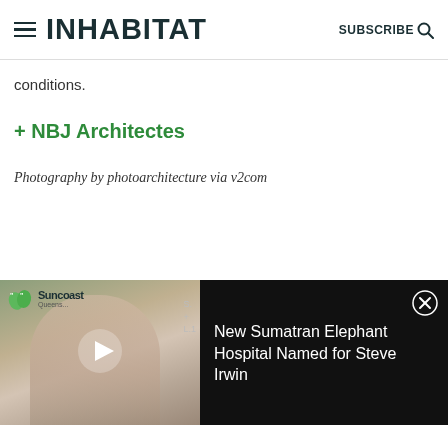INHABITAT | SUBSCRIBE
conditions.
+ NBJ Architectes
Photography by photoarchitecture via v2com
[Figure (screenshot): Video ad overlay showing a woman laughing in front of a Suncoast Queensland event banner with a play button, and text reading 'New Sumatran Elephant Hospital Named for Steve Irwin']